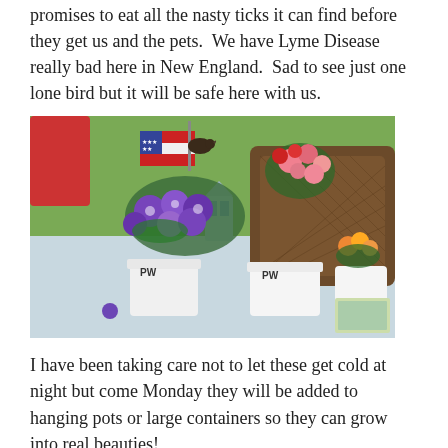promises to eat all the nasty ticks it can find before they get us and the pets.  We have Lyme Disease really bad here in New England.  Sad to see just one lone bird but it will be safe here with us.
[Figure (photo): Outdoor patio table with several potted flowering plants including purple petunias and pink geraniums. Small decorative lantern and patriotic flag decoration visible. Wicker chair and green lawn in background.]
I have been taking care not to let these get cold at night but come Monday they will be added to hanging pots or large containers so they can grow into real beauties!